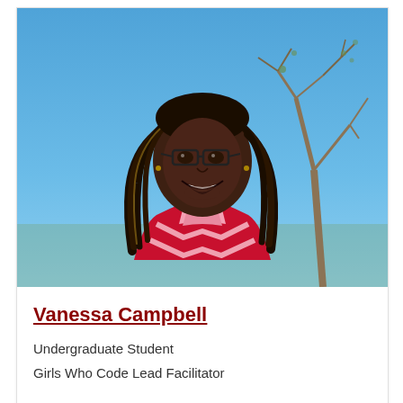[Figure (photo): Outdoor photo of Vanessa Campbell, a young Black woman with long braided hair and glasses, smiling broadly, wearing a red and pink chevron sweater. She is outdoors with a bright blue sky and a bare tree visible in the background.]
Vanessa Campbell
Undergraduate Student
Girls Who Code Lead Facilitator